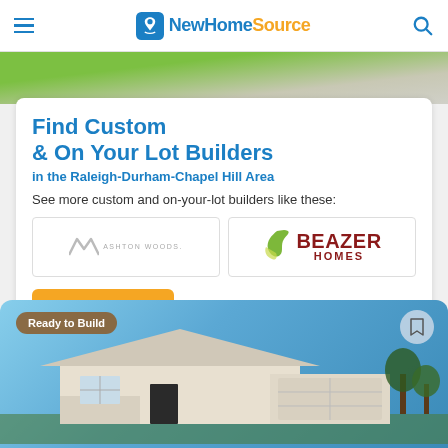NewHomeSource
[Figure (photo): Lawn and driveway aerial view strip]
Find Custom & On Your Lot Builders
in the Raleigh-Durham-Chapel Hill Area
See more custom and on-your-lot builders like these:
[Figure (logo): Ashton Woods logo]
[Figure (logo): Beazer Homes logo]
View Builders
[Figure (photo): House exterior photo with Ready to Build badge]